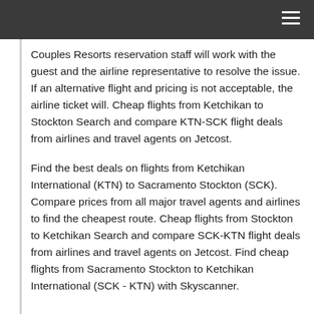Couples Resorts reservation staff will work with the guest and the airline representative to resolve the issue. If an alternative flight and pricing is not acceptable, the airline ticket will. Cheap flights from Ketchikan to Stockton Search and compare KTN-SCK flight deals from airlines and travel agents on Jetcost.
Find the best deals on flights from Ketchikan International (KTN) to Sacramento Stockton (SCK). Compare prices from all major travel agents and airlines to find the cheapest route. Cheap flights from Stockton to Ketchikan Search and compare SCK-KTN flight deals from airlines and travel agents on Jetcost. Find cheap flights from Sacramento Stockton to Ketchikan International (SCK - KTN) with Skyscanner.